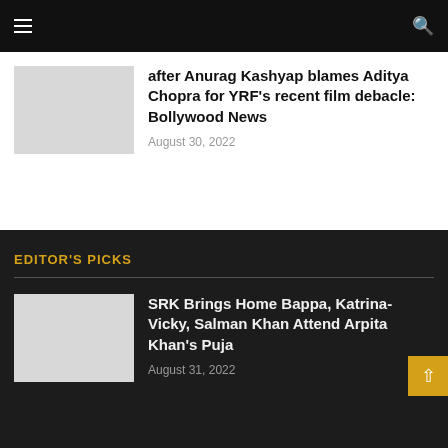[Figure (screenshot): Navigation bar with hamburger menu icon on left and search icon on right, dark background]
after Anurag Kashyap blames Aditya Chopra for YRF's recent film debacle: Bollywood News
August 30, 2022
EDITOR'S PICKS
SRK Brings Home Bappa, Katrina-Vicky, Salman Khan Attend Arpita Khan's Puja
August 31, 2022